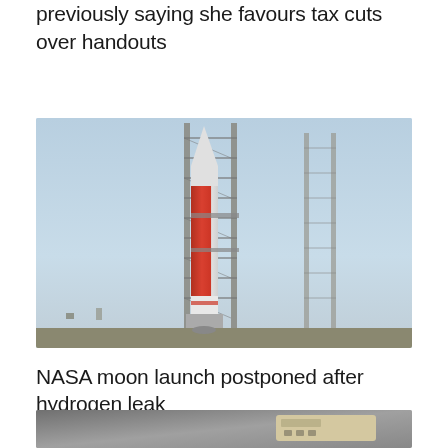previously saying she favours tax cuts over handouts
[Figure (photo): NASA Space Launch System (SLS) rocket on the launch pad with scaffolding structure and a tall metal tower beside it. The rocket has a distinctive orange/red color with white sections. The background shows a light blue overcast sky.]
NASA moon launch postponed after hydrogen leak
[Figure (photo): Close-up photo of what appears to be electronic devices or remote controls on a surface, partially visible at the bottom of the page.]